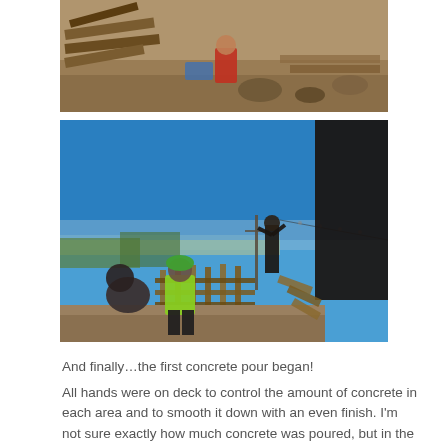[Figure (photo): Construction site photo from above showing wooden planks/forms, rocky ground, a person in red crouching, and construction debris]
[Figure (photo): Outdoor construction photo on a sunny day with bright blue sky. Workers in the foreground working on wooden formwork/concrete forms. One worker in a bright green/yellow shirt is visible. A standing figure is in the background. Ocean or bay visible in the distance. A dark building structure is on the right side.]
And finally…the first concrete pour began!
All hands were on deck to control the amount of concrete in each area and to smooth it down with an even finish. I'm not sure exactly how much concrete was poured, but in the end, there were 5 different